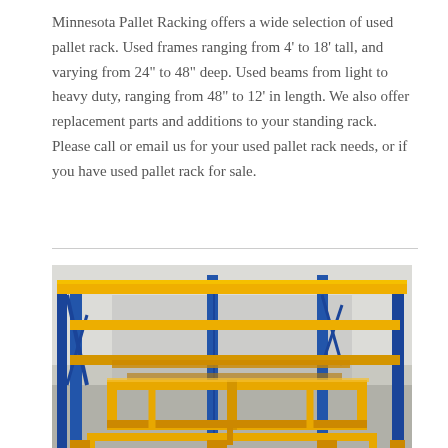Minnesota Pallet Racking offers a wide selection of used pallet rack. Used frames ranging from 4' to 18' tall, and varying from 24" to 48" deep. Used beams from light to heavy duty, ranging from 48" to 12' in length. We also offer replacement parts and additions to your standing rack. Please call or email us for your used pallet rack needs, or if you have used pallet rack for sale.
[Figure (photo): Photograph of used pallet racking system with yellow beams and frames and blue vertical uprights, stored in a warehouse setting.]